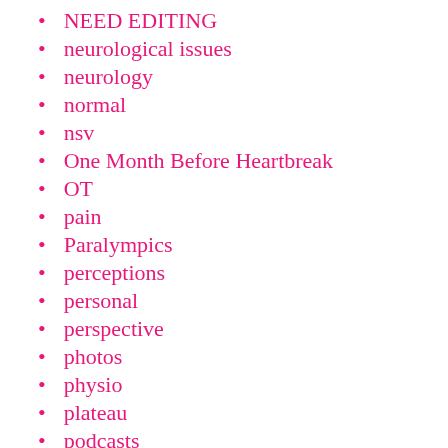NEED EDITING
neurological issues
neurology
normal
nsv
One Month Before Heartbreak
OT
pain
Paralympics
perceptions
personal
perspective
photos
physio
plateau
podcasts